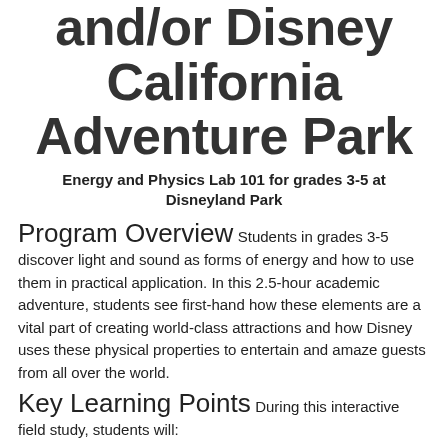and/or Disney California Adventure Park
Energy and Physics Lab 101 for grades 3-5 at Disneyland Park
Program Overview  Students in grades 3-5 discover light and sound as forms of energy and how to use them in practical application. In this 2.5-hour academic adventure, students see first-hand how these elements are a vital part of creating world-class attractions and how Disney uses these physical properties to entertain and amaze guests from all over the world.
Key Learning Points  During this interactive field study, students will:
Define energy, work, and waves
Describe different forms of energy and the Law of Conservation of Energy